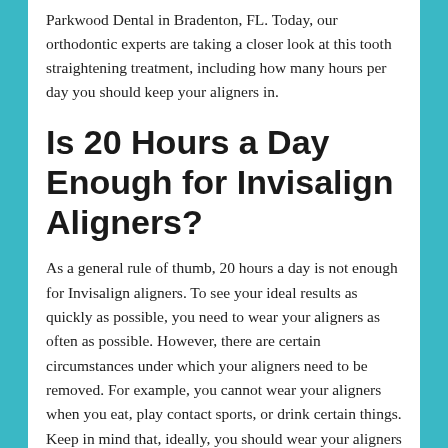Parkwood Dental in Bradenton, FL. Today, our orthodontic experts are taking a closer look at this tooth straightening treatment, including how many hours per day you should keep your aligners in.
Is 20 Hours a Day Enough for Invisalign Aligners?
As a general rule of thumb, 20 hours a day is not enough for Invisalign aligners. To see your ideal results as quickly as possible, you need to wear your aligners as often as possible. However, there are certain circumstances under which your aligners need to be removed. For example, you cannot wear your aligners when you eat, play contact sports, or drink certain things. Keep in mind that, ideally, you should wear your aligners for at least 22 hours per day.